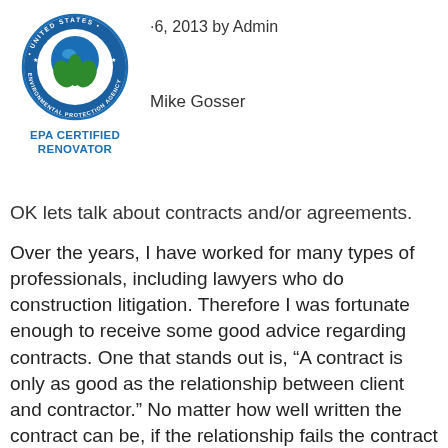6, 2013 by Admin
[Figure (logo): EPA United States Environmental Protection Agency circular seal logo with blue globe and green plant]
EPA CERTIFIED RENOVATOR
Mike Gosser
OK lets talk about contracts and/or agreements.
Over the years, I have worked for many types of professionals, including lawyers who do construction litigation. Therefore I was fortunate enough to receive some good advice regarding contracts. One that stands out is, “A contract is only as good as the relationship between client and contractor.” No matter how well written the contract can be, if the relationship fails the contract can be picked apart.  This advice was given to me in the best of relationships between this client and myself,